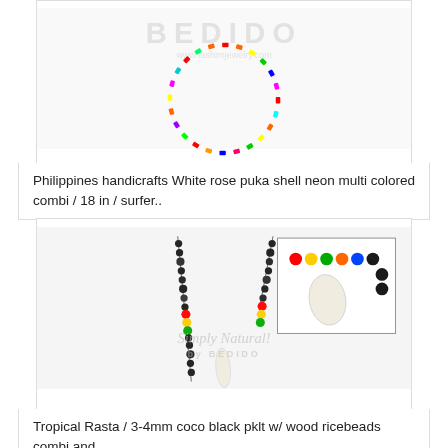[Figure (photo): Colorful white rose puka shell neon multi colored bead necklace/bracelet shown in a circular arrangement with rainbow colored beads, watermarked with BEDIDO logo]
Philippines handicrafts White rose puka shell neon multi colored combi / 18 in / surfer..
[Figure (photo): Tropical Rasta necklace with 3-4mm coco black beads with wood ricebeads combi and a bone/shell pendant, shown with inset detail image of colorful rasta beads, watermarked with Simply Natural! by BEDIDO logo]
Tropical Rasta / 3-4mm coco black pklt w/ wood ricebeads combi and